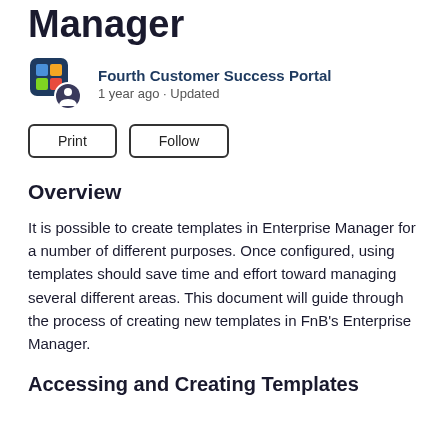Manager
[Figure (logo): Fourth Customer Success Portal logo with colorful puzzle-piece icon and person badge overlay]
Fourth Customer Success Portal
1 year ago · Updated
Print   Follow
Overview
It is possible to create templates in Enterprise Manager for a number of different purposes. Once configured, using templates should save time and effort toward managing several different areas. This document will guide through the process of creating new templates in FnB's Enterprise Manager.
Accessing and Creating Templates